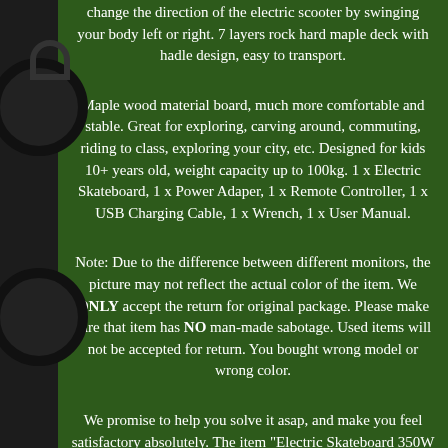change the direction of the electric scooter by swinging your body left or right. 7 layers rock hard maple deck with hadle design, easy to transport.
Maple wood material board, much more comfortable and stable. Great for exploring, carving around, commuting, riding to class, exploring your city, etc. Designed for kids 10+ years old, weight capacity up to 100kg. 1 x Electric Skateboard, 1 x Power Adaper, 1 x Remote Controller, 1 x USB Charging Cable, 1 x Wrench, 1 x User Manual.
Note: Due to the difference between different monitors, the picture may not reflect the actual color of the item. We ONLY accept the return for original package. Please make sure that item has NO man-made sabotage. Used items will not be accepted for return. You bought wrong model or wrong color.
We promise to help you solve it asap, and make you feel satisfactory absolutely. The item "Electric Skateboard 350W Motor Longboard Board Wireless withRemote Control 20KM/H" is in sale since Tuesday, February 4, 2020. This item is in the category "Sporting Goods\Outdoor Sports\Skateboarding & Longboarding\Skateboards-Complete". The seller is